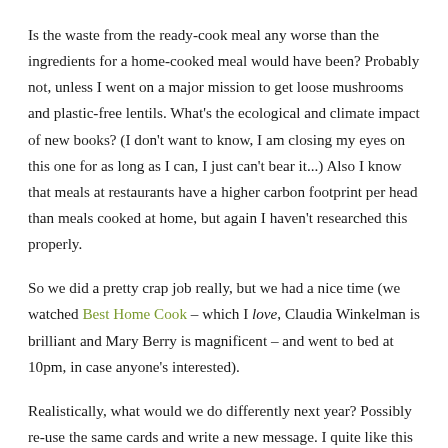Is the waste from the ready-cook meal any worse than the ingredients for a home-cooked meal would have been? Probably not, unless I went on a major mission to get loose mushrooms and plastic-free lentils. What's the ecological and climate impact of new books? (I don't want to know, I am closing my eyes on this one for as long as I can, I just can't bear it...) Also I know that meals at restaurants have a higher carbon footprint per head than meals cooked at home, but again I haven't researched this properly.
So we did a pretty crap job really, but we had a nice time (we watched Best Home Cook – which I love, Claudia Winkelman is brilliant and Mary Berry is magnificent – and went to bed at 10pm, in case anyone's interested).
Realistically, what would we do differently next year? Possibly re-use the same cards and write a new message. I quite like this idea. Possibly buy more presents but be selective for foods and forgo a take